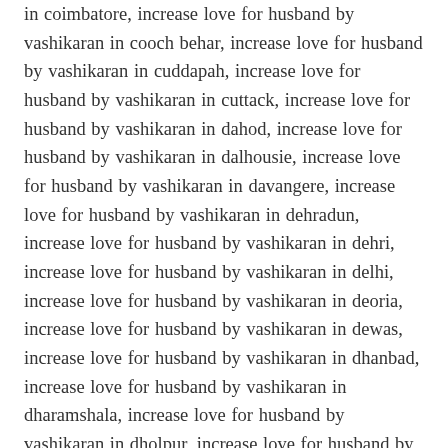in coimbatore, increase love for husband by vashikaran in cooch behar, increase love for husband by vashikaran in cuddapah, increase love for husband by vashikaran in cuttack, increase love for husband by vashikaran in dahod, increase love for husband by vashikaran in dalhousie, increase love for husband by vashikaran in davangere, increase love for husband by vashikaran in dehradun, increase love for husband by vashikaran in dehri, increase love for husband by vashikaran in delhi, increase love for husband by vashikaran in deoria, increase love for husband by vashikaran in dewas, increase love for husband by vashikaran in dhanbad, increase love for husband by vashikaran in dharamshala, increase love for husband by vashikaran in dholpur, increase love for husband by vashikaran in didwana, increase love for husband by vashikaran in dispur, increase love for husband by vashikaran in diu island, increase love for husband by vashikaran in durgapur, increase love for husband by vashikaran in dwarka, increase love for husband by vashikaran in ernakulam, increase love for husband by vashikaran in